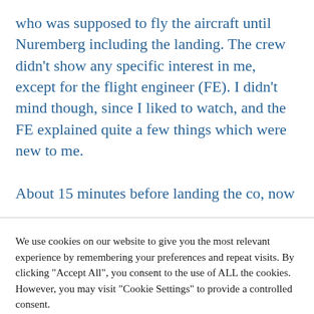who was supposed to fly the aircraft until Nuremberg including the landing. The crew didn't show any specific interest in me, except for the flight engineer (FE). I didn't mind though, since I liked to watch, and the FE explained quite a few things which were new to me.

About 15 minutes before landing the co, now
We use cookies on our website to give you the most relevant experience by remembering your preferences and repeat visits. By clicking "Accept All", you consent to the use of ALL the cookies. However, you may visit "Cookie Settings" to provide a controlled consent.